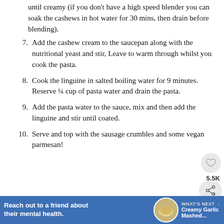(continuation) until creamy (if you don't have a high speed blender you can soak the cashews in hot water for 30 mins, then drain before blending).
7. Add the cashew cream to the saucepan along with the nutritional yeast and stir, Leave to warm through whilst you cook the pasta.
8. Cook the linguine in salted boiling water for 9 minutes. Reserve ¼ cup of pasta water and drain the pasta.
9. Add the pasta water to the sauce, mix and then add the linguine and stir until coated.
10. Serve and top with the sausage crumbles and some vegan parmesan!
[Figure (infographic): Blue advertisement banner: 'Reach out to a friend about their mental health.' with WHAT'S NEXT arrow and Creamy Garlic Mashed... thumbnail]
[Figure (photo): Operation Gratitude thank you advertisement with healthcare workers]